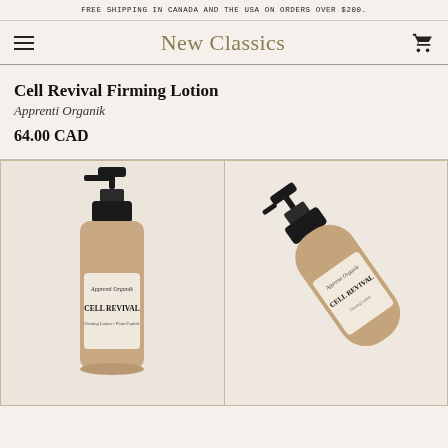FREE SHIPPING IN CANADA AND THE USA ON ORDERS OVER $200.
New Classics
Cell Revival Firming Lotion
Apprenti Organik
64.00 CAD
[Figure (photo): Close-up photo of a pump bottle of Apprenti Organik Cell Revival firming lotion, shown upright against a warm beige background]
[Figure (photo): Angled photo of the same Apprenti Organik Cell Revival bottle lying on its side on a beige background]